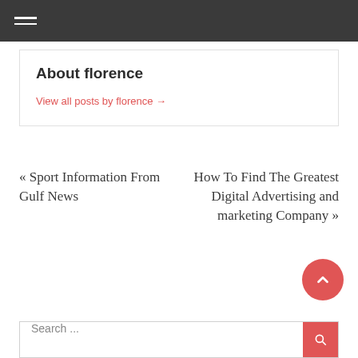Navigation menu (hamburger icon)
About florence
View all posts by florence →
« Sport Information From Gulf News
How To Find The Greatest Digital Advertising and marketing Company »
Search ...